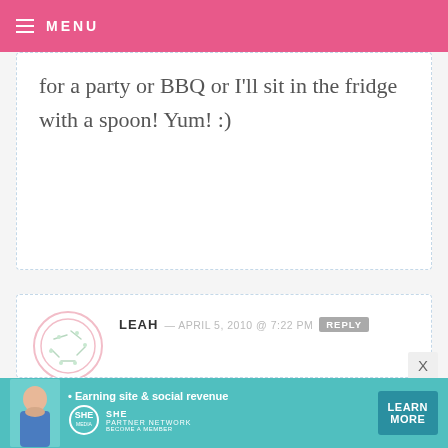MENU
for a party or BBQ or I'll sit in the fridge with a spoon! Yum! :)
LEAH — APRIL 5, 2010 @ 7:22 PM REPLY
I have to tell you, my Dad (originally from Louisiana)has a special ingredient he adds to his Banana Pudding & people LOVE it... Canned coconut milk! Try it sometime!!! =)
[Figure (infographic): Advertisement banner for SHE Partner Network with woman photo, text 'Earning site & social revenue', SHE logo, and LEARN MORE button]